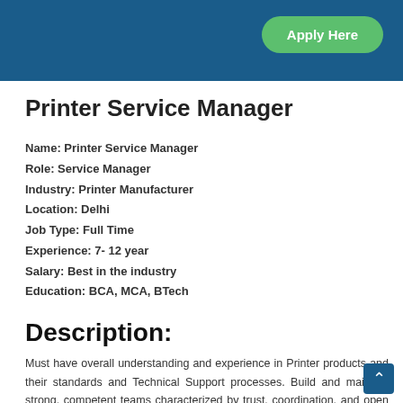Apply Here
Printer Service Manager
Name: Printer Service Manager
Role: Service Manager
Industry: Printer Manufacturer
Location: Delhi
Job Type: Full Time
Experience: 7- 12 year
Salary: Best in the industry
Education: BCA, MCA, BTech
Description:
Must have overall understanding and experience in Printer products and their standards and Technical Support processes. Build and maintain strong, competent teams characterized by trust, coordination, and open communications. Understands performance appraisal (PMS); Executes and administers quarterly and annual reviews and delivers constructive criti...